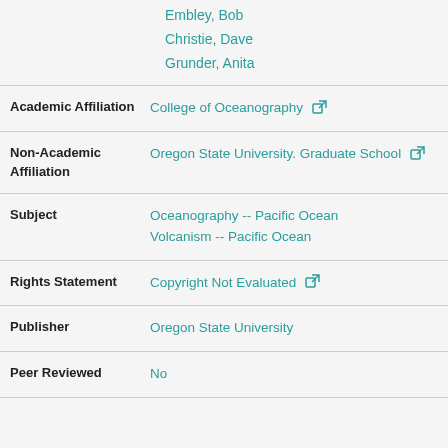Embley, Bob
Christie, Dave
Grunder, Anita
| Field | Value |
| --- | --- |
| Academic Affiliation | College of Oceanography |
| Non-Academic Affiliation | Oregon State University. Graduate School |
| Subject | Oceanography -- Pacific Ocean
Volcanism -- Pacific Ocean |
| Rights Statement | Copyright Not Evaluated |
| Publisher | Oregon State University |
| Peer Reviewed | No |